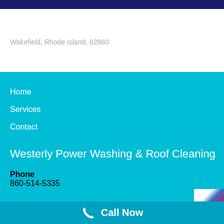Wakefield, Rhode Island, 02880
Home
Services
Contact
Westerly Power Washing & Roof Cleaning
Phone
860-514-5335
Call Now